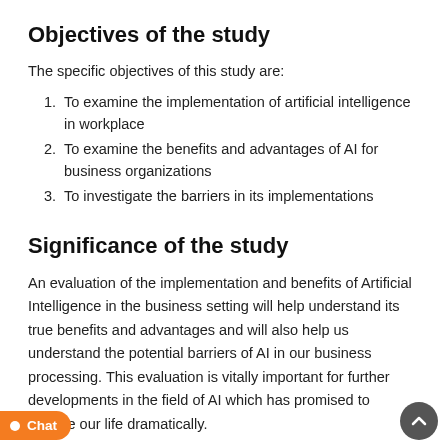Objectives of the study
The specific objectives of this study are:
To examine the implementation of artificial intelligence in workplace
To examine the benefits and advantages of AI for business organizations
To investigate the barriers in its implementations
Significance of the study
An evaluation of the implementation and benefits of Artificial Intelligence in the business setting will help understand its true benefits and advantages and will also help us understand the potential barriers of AI in our business processing. This evaluation is vitally important for further developments in the field of AI which has promised to change our life dramatically.